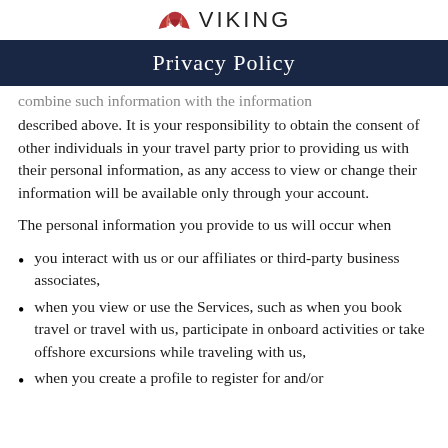VIKING
Privacy Policy
combine such information with the information described above. It is your responsibility to obtain the consent of other individuals in your travel party prior to providing us with their personal information, as any access to view or change their information will be available only through your account.
The personal information you provide to us will occur when
you interact with us or our affiliates or third-party business associates,
when you view or use the Services, such as when you book travel or travel with us, participate in onboard activities or take offshore excursions while traveling with us,
when you create a profile to register for and/or